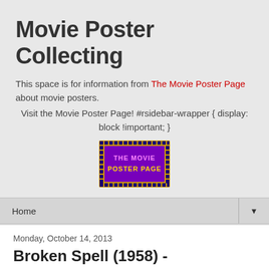Movie Poster Collecting
This space is for information from The Movie Poster Page about movie posters.
    Visit the Movie Poster Page! #rsidebar-wrapper { display: block !important; }
[Figure (logo): The Movie Poster Page logo — purple rectangle with yellow dotted border, text 'THE MOVIE POSTER PAGE' in pink/yellow letters]
Home ▼
Monday, October 14, 2013
Broken Spell (1958) - (Nosratollah Mohtasham...)